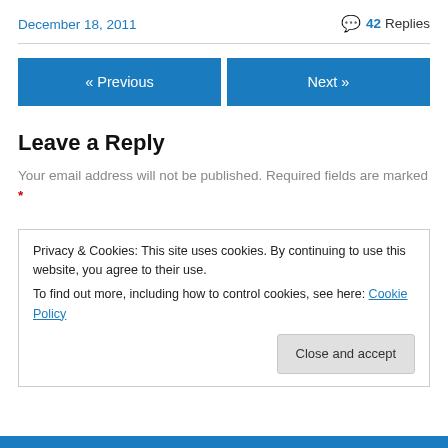December 18, 2011
💬 42 Replies
« Previous
Next »
Leave a Reply
Your email address will not be published. Required fields are marked *
Privacy & Cookies: This site uses cookies. By continuing to use this website, you agree to their use. To find out more, including how to control cookies, see here: Cookie Policy
Close and accept